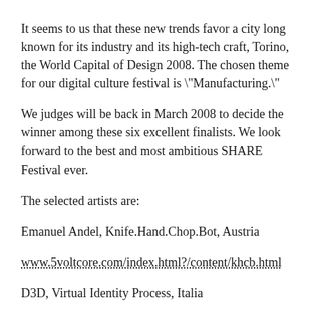It seems to us that these new trends favor a city long known for its industry and its high-tech craft, Torino, the World Capital of Design 2008. The chosen theme for our digital culture festival is "Manufacturing."
We judges will be back in March 2008 to decide the winner among these six excellent finalists. We look forward to the best and most ambitious SHARE Festival ever.
The selected artists are:
Emanuel Andel, Knife.Hand.Chop.Bot, Austria
www.5voltcore.com/index.html?/content/khcb.html
D3D, Virtual Identity Process, Italia
www.master-naba-d3d.net/index.php?option=com_wrapper&Itemid=64